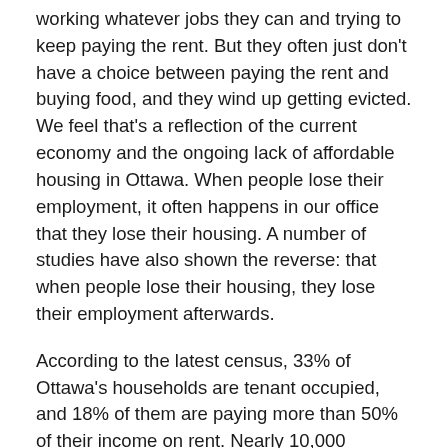working whatever jobs they can and trying to keep paying the rent. But they often just don't have a choice between paying the rent and buying food, and they wind up getting evicted. We feel that's a reflection of the current economy and the ongoing lack of affordable housing in Ottawa. When people lose their employment, it often happens in our office that they lose their housing. A number of studies have also shown the reverse: that when people lose their housing, they lose their employment afterwards.
According to the latest census, 33% of Ottawa's households are tenant occupied, and 18% of them are paying more than 50% of their income on rent. Nearly 10,000 households in Ottawa are currently on the waiting list for social housing. It is estimated that about 7,300 individuals or 5,600 households resided in shelters for an average of 68 days, in Ottawa. Those stats don't capture the real picture because we're only capturing the ones who are actually staying in shelters. We have a lot of people in our office